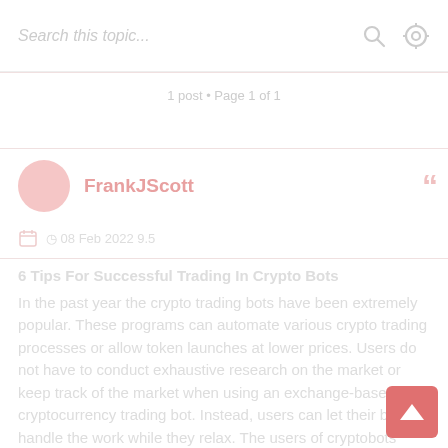Search this topic...
1 post • Page 1 of 1
FrankJScott
Post date info
6 Tips For Successful Trading In Crypto Bots
In the past year the crypto trading bots have been extremely popular. These programs can automate various crypto trading processes or allow token launches at lower prices. Users do not have to conduct exhaustive research on the market or keep track of the market when using an exchange-based cryptocurrency trading bot. Instead, users can let their bot handle the work while they relax. The users of cryptobots must follow certain guidelines in order to get the most out of their bots.